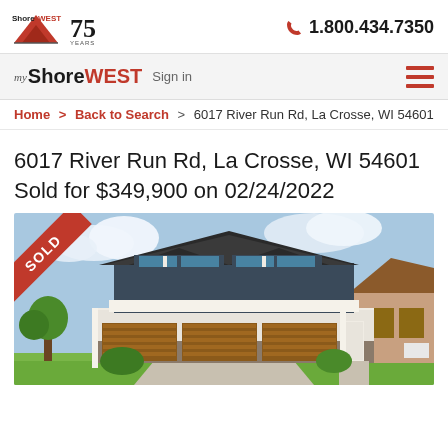Shorewest REALTORS | 75 Years | 1.800.434.7350
myShoreWEST Sign in
Home > Back to Search > 6017 River Run Rd, La Crosse, WI 54601
6017 River Run Rd, La Crosse, WI 54601
Sold for $349,900 on 02/24/2022
[Figure (photo): Exterior photo of a two-story house with dark blue/gray siding, white trim, brown garage doors (3-car garage), and a 'SOLD' ribbon banner in the upper left corner. The house has a modern craftsman style.]